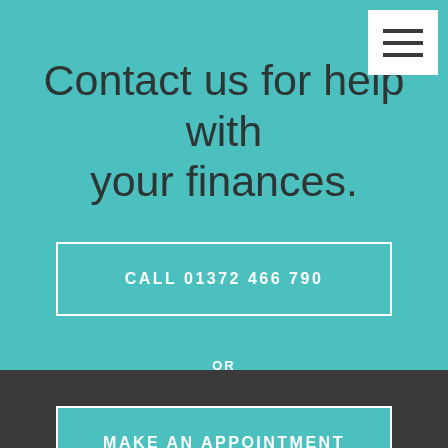Contact us for help with your finances.
CALL 01372 466 790
OR
MAKE AN APPOINTMENT